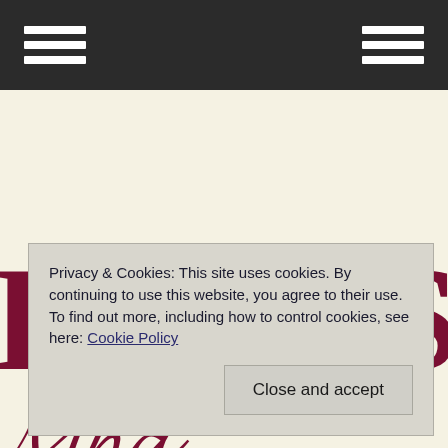Navigation bar with hamburger menus
[Figure (logo): Partial logo text reading 'ILYN'S' in large dark red serif bold font on cream background, with cursive script below]
Privacy & Cookies: This site uses cookies. By continuing to use this website, you agree to their use.
To find out more, including how to control cookies, see here: Cookie Policy
Close and accept